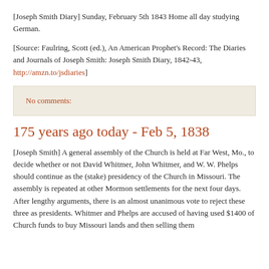[Joseph Smith Diary] Sunday, February 5th 1843 Home all day studying German.
[Source: Faulring, Scott (ed.), An American Prophet's Record: The Diaries and Journals of Joseph Smith: Joseph Smith Diary, 1842-43, http://amzn.to/jsdiaries]
No comments:
175 years ago today - Feb 5, 1838
[Joseph Smith] A general assembly of the Church is held at Far West, Mo., to decide whether or not David Whitmer, John Whitmer, and W. W. Phelps should continue as the (stake) presidency of the Church in Missouri. The assembly is repeated at other Mormon settlements for the next four days. After lengthy arguments, there is an almost unanimous vote to reject these three as presidents. Whitmer and Phelps are accused of having used $1400 of Church funds to buy Missouri lands and then selling them